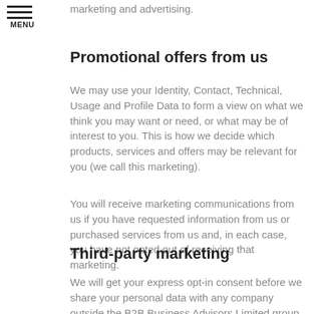marketing and advertising.
Promotional offers from us
We may use your Identity, Contact, Technical, Usage and Profile Data to form a view on what we think you may want or need, or what may be of interest to you. This is how we decide which products, services and offers may be relevant for you (we call this marketing).
You will receive marketing communications from us if you have requested information from us or purchased services from us and, in each case, you have not opted out of receiving that marketing.
Third-party marketing
We will get your express opt-in consent before we share your personal data with any company outside the B2B Business Advisors Limited group of companies for marketing purposes.